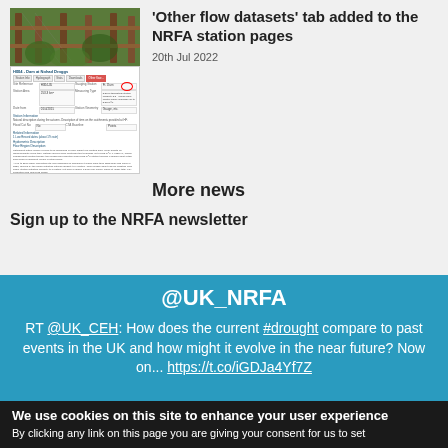[Figure (screenshot): Screenshot of NRFA station page for H004 - Dam at Nohad Droggs, showing data table and circled tab]
'Other flow datasets' tab added to the NRFA station pages
20th Jul 2022
More news
Sign up to the NRFA newsletter
@UK_NRFA
RT @UK_CEH: How does the current #drought compare to past events in the UK and how might it evolve in the near future? Now on... https://t.co/iGDJa4Yf7Z
We use cookies on this site to enhance your user experience
By clicking any link on this page you are giving your consent for us to set